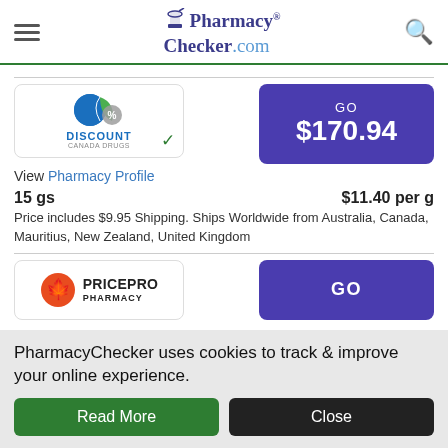PharmacyChecker.com
[Figure (logo): Discount Canada Drugs pharmacy logo with checkmark verification badge]
[Figure (other): GO button with price $170.94 in purple]
View Pharmacy Profile
15 gs    $11.40 per g
Price includes $9.95 Shipping. Ships Worldwide from Australia, Canada, Mauritius, New Zealand, United Kingdom
[Figure (logo): PricePro Pharmacy logo with orange maple leaf icon]
[Figure (other): GO button in purple for PricePro Pharmacy]
PharmacyChecker uses cookies to track & improve your online experience.
Read More
Close